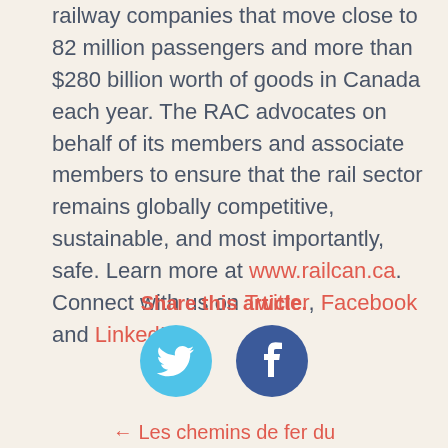railway companies that move close to 82 million passengers and more than $280 billion worth of goods in Canada each year. The RAC advocates on behalf of its members and associate members to ensure that the rail sector remains globally competitive, sustainable, and most importantly, safe. Learn more at www.railcan.ca. Connect with us on Twitter, Facebook and LinkedIn.
Share this article.
[Figure (illustration): Twitter bird icon (cyan circle with white bird) and Facebook icon (dark blue circle with white f)]
← Les chemins de fer du Canada...